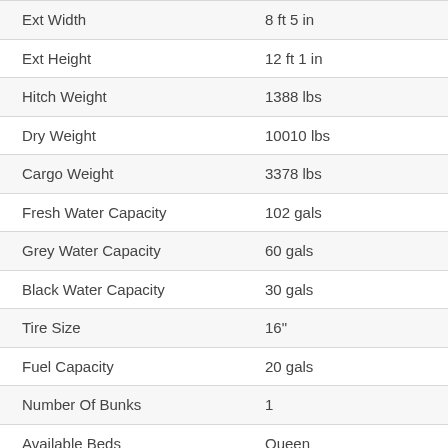| Specification | Value |
| --- | --- |
| Ext Width | 8 ft 5 in |
| Ext Height | 12 ft 1 in |
| Hitch Weight | 1388 lbs |
| Dry Weight | 10010 lbs |
| Cargo Weight | 3378 lbs |
| Fresh Water Capacity | 102 gals |
| Grey Water Capacity | 60 gals |
| Black Water Capacity | 30 gals |
| Tire Size | 16" |
| Fuel Capacity | 20 gals |
| Number Of Bunks | 1 |
| Available Beds | Queen |
| Refrigerator Type | Gas/Electric |
| Cooktop Burners | 3 |
| Number of Awnings | 1 |